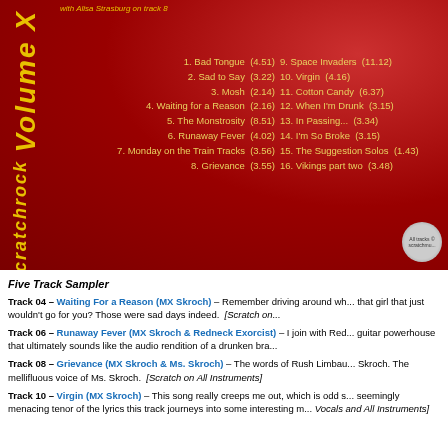[Figure (other): Album back cover with red background, vertical yellow text 'Volume X' and 'Scratchrock', track listing in two columns in yellow/gold text, small circular logo bottom right]
with Alisa Strasburg on track 8
1. Bad Tongue  (4.51)
2. Sad to Say  (3.22)
3. Mosh  (2.14)
4. Waiting for a Reason  (2.16)
5. The Monstrosity  (8.51)
6. Runaway Fever  (4.02)
7. Monday on the Train Tracks  (3.56)
8. Grievance  (3.55)
9. Space Invaders  (11.12)
10. Virgin  (4.16)
11. Cotton Candy  (6.37)
12. When I'm Drunk  (3.15)
13. In Passing...  (3.34)
14. I'm So Broke  (3.15)
15. The Suggestion Solos  (1.43)
16. Vikings part two  (3.48)
Five Track Sampler
Track 04 – Waiting For a Reason (MX Skroch) – Remember driving around wh... that girl that just wouldn't go for you? Those were sad days indeed.  [Scratch on...
Track 06 – Runaway Fever (MX Skroch & Redneck Exorcist) – I join with Red... guitar powerhouse that ultimately sounds like the audio rendition of a drunken bra...
Track 08 – Grievance (MX Skroch & Ms. Skroch) – The words of Rush Limbau... Skroch. The mellifluous voice of Ms. Skroch.  [Scratch on All Instruments]
Track 10 – Virgin (MX Skroch) – This song really creeps me out, which is odd s... seemingly menacing tenor of the lyrics this track journeys into some interesting m... Vocals and All Instruments]